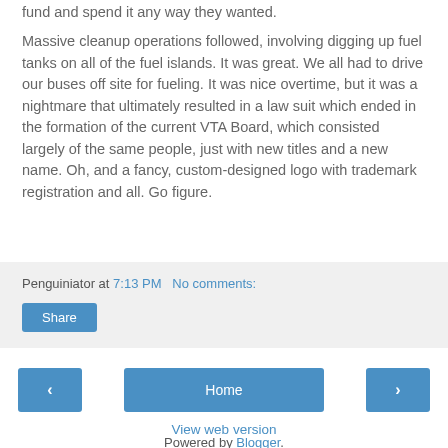fund and spend it any way they wanted.
Massive cleanup operations followed, involving digging up fuel tanks on all of the fuel islands. It was great. We all had to drive our buses off site for fueling. It was nice overtime, but it was a nightmare that ultimately resulted in a law suit which ended in the formation of the current VTA Board, which consisted largely of the same people, just with new titles and a new name. Oh, and a fancy, custom-designed logo with trademark registration and all. Go figure.
Penguiniator at 7:13 PM   No comments:
Share
‹
Home
›
View web version
Powered by Blogger.